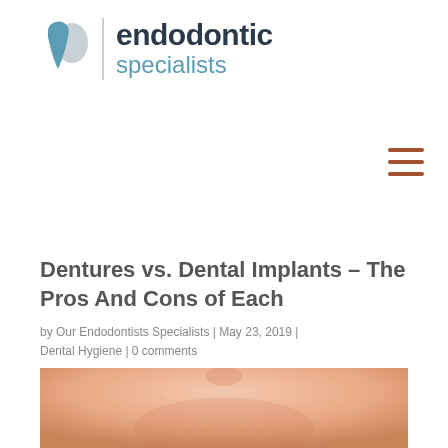[Figure (logo): Endodontic Specialists logo with tooth icon and divider line followed by the text 'endodontic specialists']
[Figure (other): Hamburger menu icon (three horizontal lines) in dark red/brown color]
Dentures vs. Dental Implants – The Pros And Cons of Each
by Our Endodontists Specialists | May 23, 2019 | Dental Hygiene | 0 comments
[Figure (photo): Close-up photo of a person's lower face/chin area, skin tone, slightly out of focus]